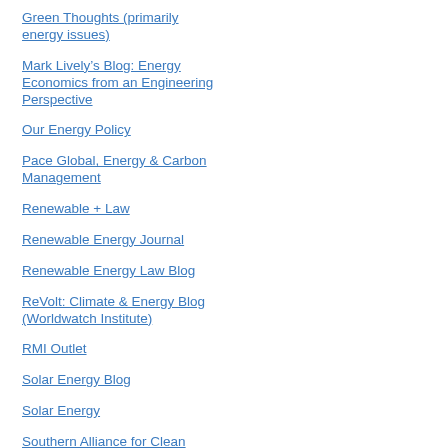Green Thoughts (primarily energy issues)
Mark Lively's Blog: Energy Economics from an Engineering Perspective
Our Energy Policy
Pace Global, Energy & Carbon Management
Renewable + Law
Renewable Energy Journal
Renewable Energy Law Blog
ReVolt: Climate & Energy Blog (Worldwatch Institute)
RMI Outlet
Solar Energy Blog
Solar Energy
Southern Alliance for Clean Energy
The Energy Blog